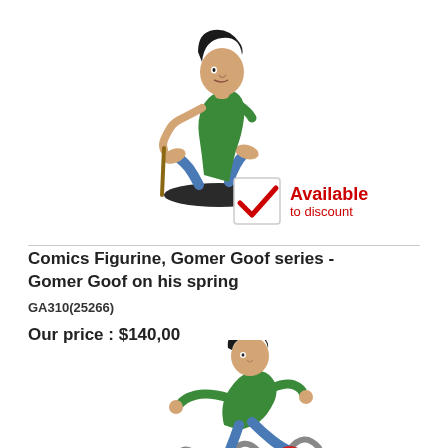[Figure (photo): A comic figurine of Gaston Lagaffe / Gomer Goof leaning on a stick, wearing green shirt and blue jeans, on a black base]
[Figure (infographic): Red checkbox with checkmark and text 'Available to discount' in red]
Comics Figurine, Gomer Goof series - Gomer Goof on his spring
GA310(25266)
Our price : $140,00
[Figure (photo): A comic figurine of Gaston Lagaffe / Gomer Goof sitting on a spring mechanism, wearing green shirt and blue jeans]